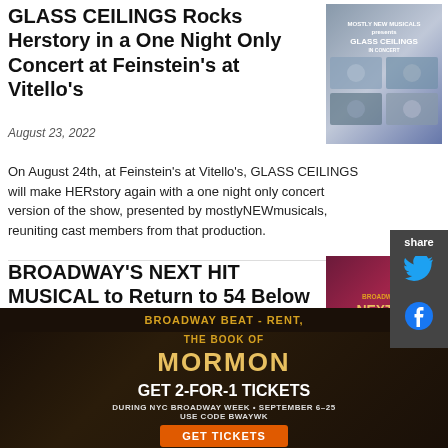GLASS CEILINGS Rocks Herstory in a One Night Only Concert at Feinstein's at Vitello's
[Figure (photo): Promotional image for GLASS CEILINGS concert — grid of performer headshots with show title text]
August 23, 2022
On August 24th, at Feinstein's at Vitello's, GLASS CEILINGS will make HERstory again with a one night only concert version of the show, presented by mostlyNEWmusicals, reuniting cast members from that production.
BROADWAY'S NEXT HIT MUSICAL to Return to 54 Below in September
[Figure (photo): Promotional image for Broadway's Next Hit Musical at 54 Below — dark maroon background with gold text]
August 23, 2022
54 BELOW, Broadway's Supper Club, will present
[Figure (infographic): Advertisement for The Book of Mormon — GET 2-FOR-1 TICKETS during NYC Broadway Week September 6-25, use code BWAYWK]
BROADWAY BEAT - RENT,